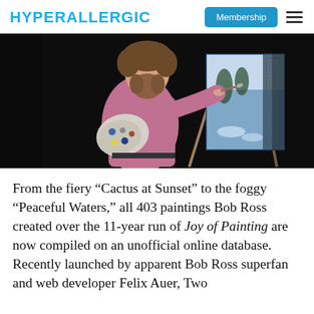HYPERALLERGIC | Membership
[Figure (photo): Bob Ross painting at an easel on a dark background, holding a brush and palette, wearing a pink shirt, with curly hair and a beard. A canvas with a winter landscape painting is visible on the easel.]
From the fiery “Cactus at Sunset” to the foggy “Peaceful Waters,” all 403 paintings Bob Ross created over the 11-year run of Joy of Painting are now compiled on an unofficial online database. Recently launched by apparent Bob Ross superfan and web developer Felix Auer, Two